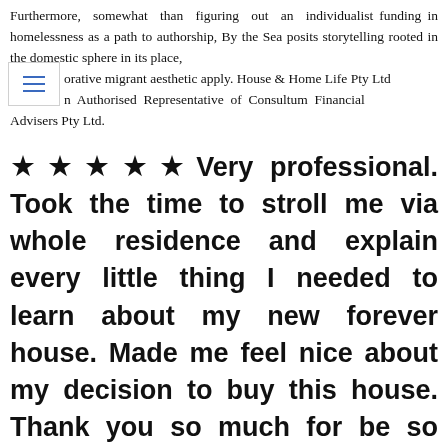Furthermore, somewhat than figuring out an individualist funding in homelessness as a path to authorship, By the Sea posits storytelling rooted in the domestic sphere in its place, orative migrant aesthetic apply. House & Home Life Pty Ltd n Authorised Representative of Consultum Financial Advisers Pty Ltd.
★★★★★ Very professional. Took the time to stroll me via whole residence and explain every little thing I needed to learn about my new forever house. Made me feel nice about my decision to buy this house. Thank you so much for be so considerate and through.
The chain now boasts with virtually 50 large-sized shops buying and selling on places ranging from m². Goods include a